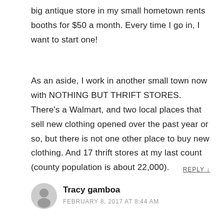big antique store in my small hometown rents booths for $50 a month. Every time I go in, I want to start one!
As an aside, I work in another small town now with NOTHING BUT THRIFT STORES. There’s a Walmart, and two local places that sell new clothing opened over the past year or so, but there is not one other place to buy new clothing. And 17 thrift stores at my last count (county population is about 22,000).
REPLY ↓
Tracy gamboa
FEBRUARY 8, 2017 AT 8:44 AM